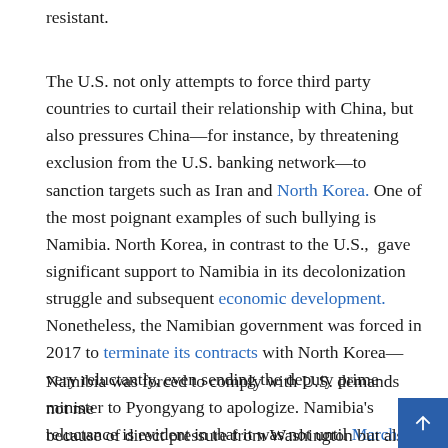resistant.
The U.S. not only attempts to force third party countries to curtail their relationship with China, but also pressures China—for instance, by threatening exclusion from the U.S. banking network—to sanction targets such as Iran and North Korea. One of the most poignant examples of such bullying is Namibia. North Korea, in contrast to the U.S., gave significant support to Namibia in its decolonization struggle and subsequent economic development. Nonetheless, the Namibian government was forced in 2017 to terminate its contracts with North Korea—very reluctantly, even sending the deputy prime minister to Pyongyang to apologize. Namibia's reluctance is evident in that it was not until March 2019 that all North Korean workers had been sent home.
Namibia was forced to comply with U.S. demands not merely because of direct pressure from Washington but also